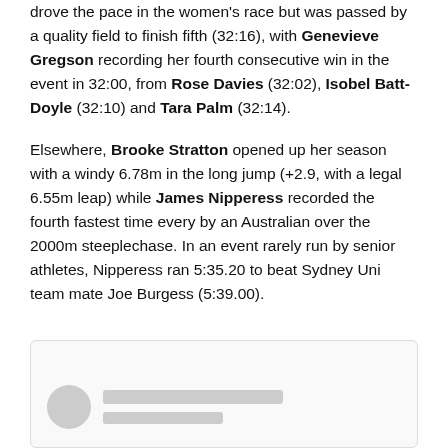drove the pace in the women's race but was passed by a quality field to finish fifth (32:16), with Genevieve Gregson recording her fourth consecutive win in the event in 32:00, from Rose Davies (32:02), Isobel Batt-Doyle (32:10) and Tara Palm (32:14).
Elsewhere, Brooke Stratton opened up her season with a windy 6.78m in the long jump (+2.9, with a legal 6.55m leap) while James Nipperess recorded the fourth fastest time every by an Australian over the 2000m steeplechase. In an event rarely run by senior athletes, Nipperess ran 5:35.20 to beat Sydney Uni team mate Joe Burgess (5:39.00).
[Figure (other): Social media embed box with avatar placeholder and text line placeholders, shown at bottom of page]